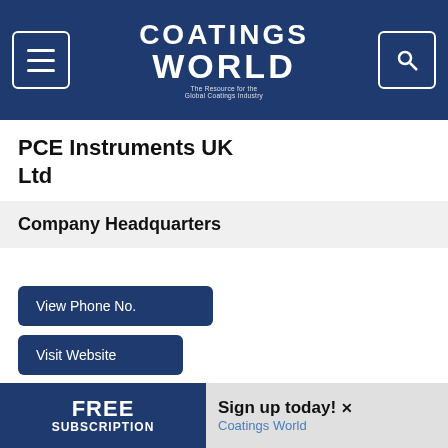Coatings World — The Resource for the Global Coatings Industry
PCE Instruments UK Ltd
Company Headquarters
View Phone No.
Visit Website
Request More Info
Other locations
FREE SUBSCRIPTION — Sign up today! Coatings World